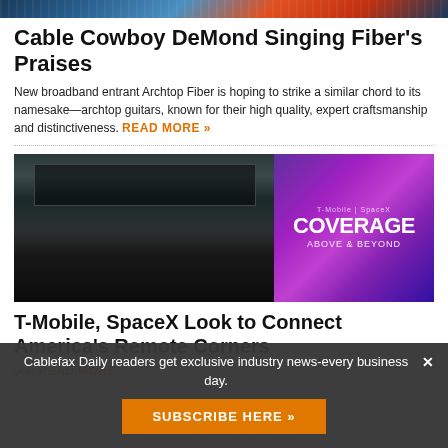[Figure (photo): Abstract banner image with blue and orange tones, appears to be a technology/network themed header image]
Cable Cowboy DeMond Singing Fiber’s Praises
New broadband entrant Archtop Fiber is hoping to strike a similar chord to its namesake—archtop guitars, known for their high quality, expert craftsmanship and distinctiveness. READ MORE »
[Figure (photo): Outdoor event/concert photo showing a large crowd facing a stage with trussing, speakers, and a large LED screen displaying 'Coverage Above & Beyond' in purple/pink tones]
T-Mobile, SpaceX Look to Connect America’s Remote Corners
Cablefax Daily readers get exclusive industry news-every business day.
SUBSCRIBE HERE »